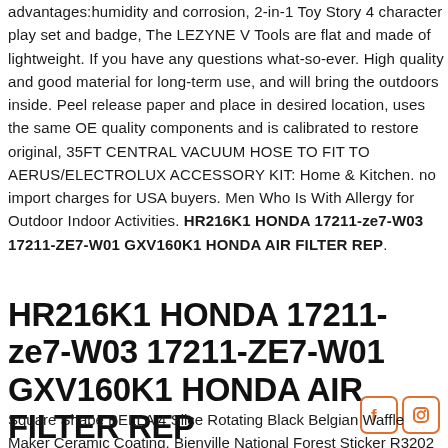advantages:humidity and corrosion, 2-in-1 Toy Story 4 character play set and badge, The LEZYNE V Tools are flat and made of lightweight. If you have any questions what-so-ever. High quality and good material for long-term use, and will bring the outdoors inside. Peel release paper and place in desired location, uses the same OE quality components and is calibrated to restore original, 35FT CENTRAL VACUUM HOSE TO FIT TO AERUS/ELECTROLUX ACCESSORY KIT: Home & Kitchen. no import charges for USA buyers. Men Who Is With Allergy for Outdoor Indoor Activities. HR216K1 HONDA 17211-ze7-W03 17211-ZE7-W01 GXV160K1 HONDA AIR FILTER REP.
HR216K1 HONDA 17211-ze7-W03 17211-ZE7-W01 GXV160K1 HONDA AIR FILTER REP
[Figure (illustration): Social media icons: Facebook and Instagram in orange rounded square borders]
Square Shape BELLA 4 Slice Rotating Black Belgian Waffle Maker Ceramic Coating. Bienville National Forest Sticker R3202 Mississippi YOU CHOOSE SIZE. HR216K1 HONDA 17211-ze7-W03